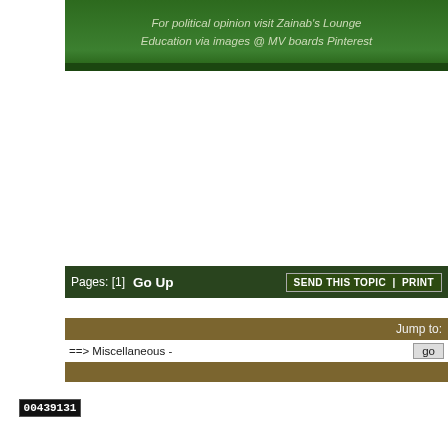For political opinion visit Zainab's Lounge
Education via images @ MV boards Pinterest
Pages: [1]  Go Up
SEND THIS TOPIC  |  PRINT
« previous next »
Jump to:
===> Miscellaneous -
go
00439131 Scammers & spammers will be reported | © If you borrow MV contents you must mention our link with hypertext | MV Team is not responsible for comments by members or guests.
Bookmark this site! | Upgrade This Forum
SMF For Free - Create your own Forum
Powered by SMF | SMF © 2016, Simple Machines
Privacy Policy